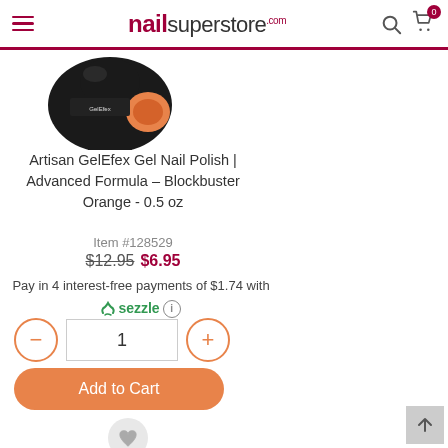nailsuperstore.com
[Figure (photo): Artisan GelEfex gel nail polish bottle in black with orange label, top-down angle view]
Artisan GelEfex Gel Nail Polish | Advanced Formula – Blockbuster Orange - 0.5 oz
Item #128529
$12.95  $6.95
Pay in 4 interest-free payments of $1.74 with Sezzle
1
Add to Cart